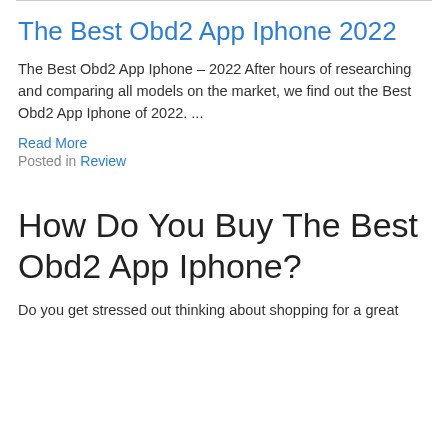The Best Obd2 App Iphone 2022
The Best Obd2 App Iphone – 2022 After hours of researching and comparing all models on the market, we find out the Best Obd2 App Iphone of 2022. ...
Read More
Posted in Review
How Do You Buy The Best Obd2 App Iphone?
Do you get stressed out thinking about shopping for a great